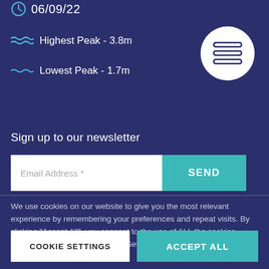06/09/22
Highest Peak - 3.8m
Lowest Peak - 1.7m
[Figure (illustration): White circle button with horizontal lines (menu/hamburger icon)]
Sign up to our newsletter
Email Address *
SEND
We use cookies on our website to give you the most relevant experience by remembering your preferences and repeat visits. By clicking "Accept All", you consent to the use of ALL the cookies. However, you may visit "Cookie Settings" to provide a controlled consent.
COOKIE SETTINGS
ACCEPT ALL